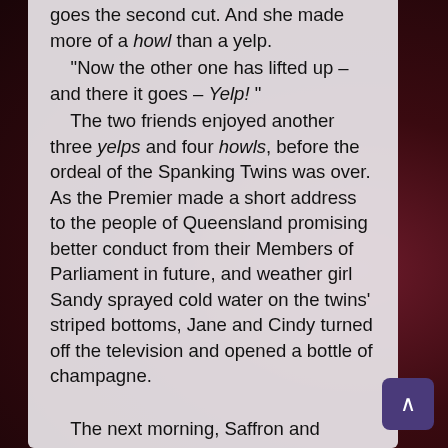goes the second cut. And she made more of a howl than a yelp.
“Now the other one has lifted up – and there it goes – Yelp! “

The two friends enjoyed another three yelps and four howls, before the ordeal of the Spanking Twins was over. As the Premier made a short address to the people of Queensland promising better conduct from their Members of Parliament in future, and weather girl Sandy sprayed cold water on the twins’ striped bottoms, Jane and Cindy turned off the television and opened a bottle of champagne.

The next morning, Saffron and Scarlet resumed their leisurely breakfast routine, somewhat disappointed that their spectacular